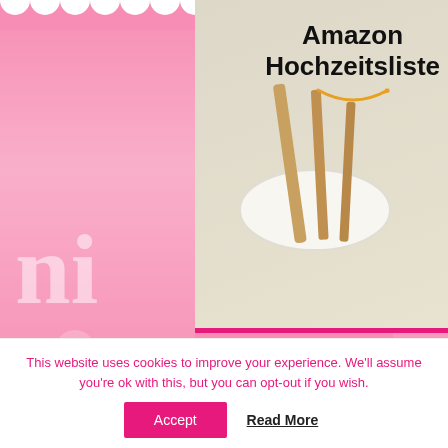[Figure (photo): Amazon Hochzeitsliste banner with golden cutlery on a white plate and Amazon logo with smile arrow]
BAKING SUPPLIES
[Figure (logo): Mhmm Baking Shop logo with pink speech bubble saying MHMM and decorative baking equipment illustration]
Deutscher Shop: bitte hier klicken
This website uses cookies to improve your experience. We'll assume you're ok with this, but you can opt-out if you wish.
Accept
Read More